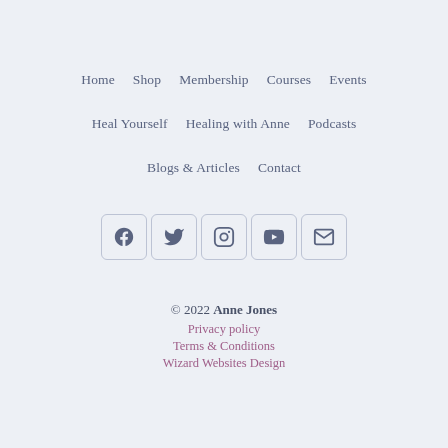Home    Shop    Membership    Courses    Events
Heal Yourself    Healing with Anne    Podcasts
Blogs & Articles    Contact
[Figure (infographic): Row of 5 social media icons (Facebook, Twitter, Instagram, YouTube, Email) in rounded square boxes]
© 2022 Anne Jones
Privacy policy
Terms & Conditions
Wizard Websites Design